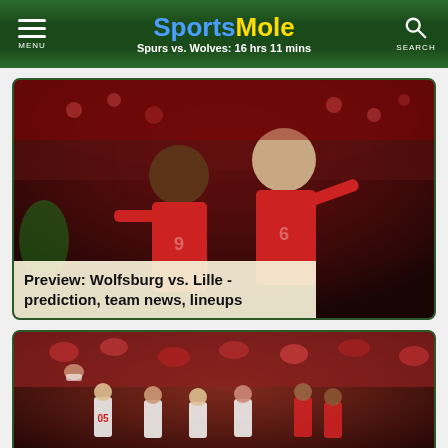SportsMole — Spurs vs. Wolves: 16 hrs 11 mins
[Figure (photo): Two Lille football players in red jerseys celebrating on the pitch]
Preview: Wolfsburg vs. Lille - prediction, team news, lineups
[Figure (photo): Football crowd scene with players on pitch, fans in stands]